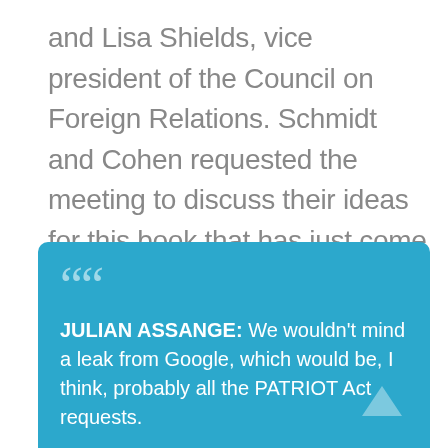and Lisa Shields, vice president of the Council on Foreign Relations. Schmidt and Cohen requested the meeting to discuss their ideas for this book that has just come out, The New Digital World. We want to go to a part of your conversation with Schmidt and Malcomson. This is a recording you made of that meeting, first time being played in a national broadcast, where you talk about the PATRIOT Act.
JULIAN ASSANGE: We wouldn't mind a leak from Google, which would be, I think, probably all the PATRIOT Act requests.